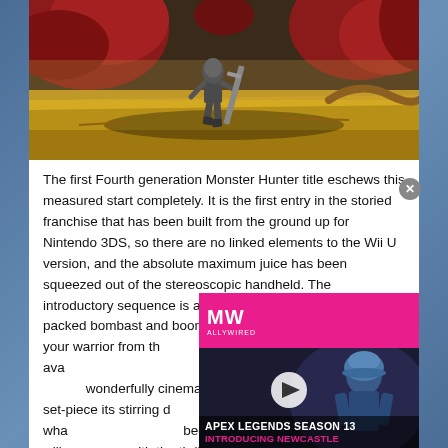[Figure (screenshot): Monster Hunter 4 Ultimate gameplay screenshot showing a warrior character fighting in a yellow/golden landscape with red rocky terrain in the background]
The first Fourth generation Monster Hunter title eschews this measured start completely. It is the first entry in the storied franchise that has been built from the ground up for Nintendo 3DS, so there are no linked elements to the Wii U version, and the absolute maximum juice has been squeezed out of the stereoscopic handheld. The introductory sequence is a mesmerising slice of action packed bombast and booming tunes. Once you've created your warrior from the selection of facial hair and warpaint available, you're thrown into a veritable maelstrom from the off. It's wonderfully cinematic, Uncharted-style, epic battle set-piece its stirring debut, and right away you get a taste of what Monster Hunter 4 becomes, of how investing your time will repay you with the thrill of the hunt, of mastering an arsenal of diverse weaponry and taking down enormous behemoths. It's a blinding way of capturing your interest. The fact that Monster Hunter 4 Ultimate is heading to next-level hardware. Think of
[Figure (screenshot): Apex Legends Season 13 promotional video ad with MW logo, showing a character and text 'APEX LEGENDS SEASON 13 INTRODUCING NEWCASTLE']